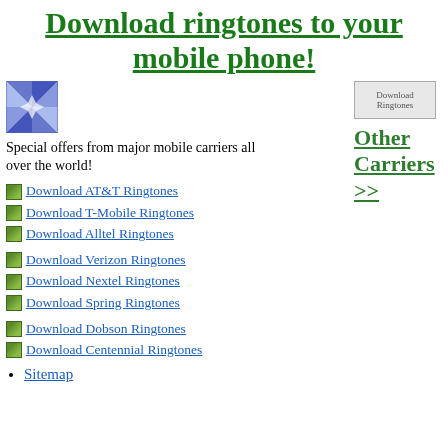Download ringtones to your mobile phone!
[Figure (illustration): Decorative geometric/floral tile pattern with blue star-like design]
Special offers from major mobile carriers all over the world!
[Figure (illustration): Download Ringtones image link]
Other Carriers >>
Download AT&T Ringtones
Download T-Mobile Ringtones
Download Alltel Ringtones
Download Verizon Ringtones
Download Nextel Ringtones
Download Spring Ringtones
Download Dobson Ringtones
Download Centennial Ringtones
Sitemap